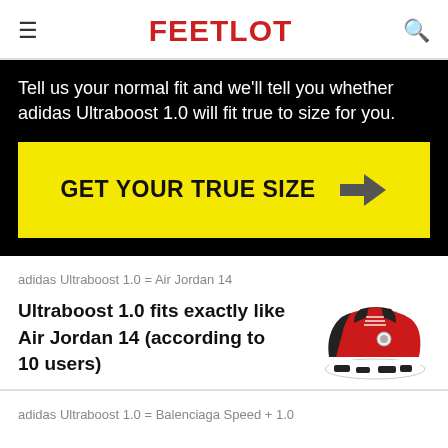FEETLOT
Tell us your normal fit and we'll tell you whether adidas Ultraboost 1.0 will fit true to size for you.
[Figure (infographic): Yellow button with bold text GET YOUR TRUE SIZE and a right-pointing arrow]
adidas Ultraboost 1.0 = Air Jordan 14
Ultraboost 1.0 fits exactly like Air Jordan 14 (according to 10 users)
[Figure (illustration): Red and black Air Jordan 14 sneaker with white sole]
adidas Ultraboost 1.0 = Balenciaga Speed + 1.0